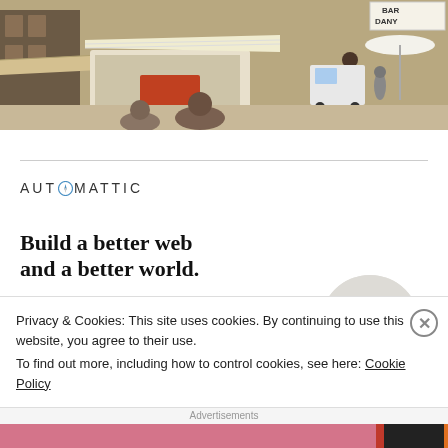[Figure (photo): Street scene photograph showing a busy outdoor market or food truck area with buildings, awnings, people walking, a white van, and umbrellas. A sign reading BAR DANY is visible in the upper right.]
[Figure (logo): Automattic logo with compass icon between AUT and MATTIC text]
Build a better web and a better world.
[Figure (photo): Circular portrait of a young Black man with glasses and a beard wearing a beige shirt, with hand near chin in a thoughtful pose, on a light grey background.]
Privacy & Cookies: This site uses cookies. By continuing to use this website, you agree to their use.
To find out more, including how to control cookies, see here: Cookie Policy
Close and accept